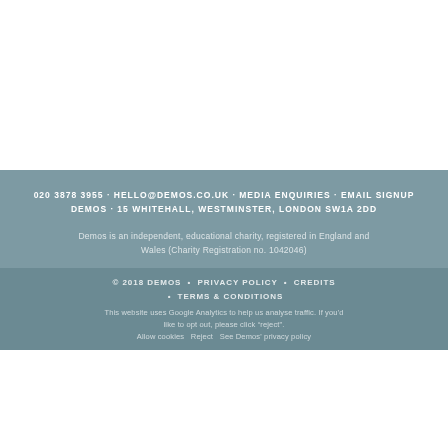020 3878 3955 · HELLO@DEMOS.CO.UK · MEDIA ENQUIRIES · EMAIL SIGNUP
DEMOS · 15 WHITEHALL, WESTMINSTER, LONDON SW1A 2DD
Demos is an independent, educational charity, registered in England and Wales (Charity Registration no. 1042046)
© 2018 DEMOS • PRIVACY POLICY • CREDITS • TERMS & CONDITIONS
This website uses Google Analytics to help us analyse traffic. If you'd like to opt out, please click "reject".
Allow cookies  Reject  See Demos' privacy policy